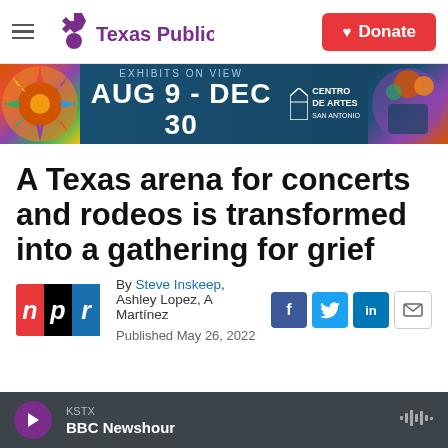Texas Public Radio | Donate
[Figure (infographic): Advertisement banner: Exhibits on View AUG 9 - DEC 30, Centro de Artes San Antonio]
A Texas arena for concerts and rodeos is transformed into a gathering for grief
By Steve Inskeep, Ashley Lopez, A Martínez
Published May 26, 2022
[Figure (logo): NPR logo]
[Figure (infographic): Social share icons: Facebook, Twitter, LinkedIn, Email]
KSTX BBC Newshour